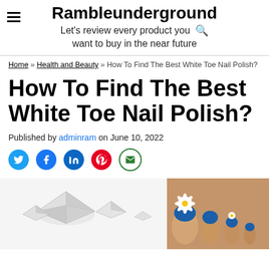Rambleunderground — Let's review every product you want to buy in the near future
Home » Health and Beauty » How To Find The Best White Toe Nail Polish?
How To Find The Best White Toe Nail Polish?
Published by adminram on June 10, 2022
[Figure (photo): Left: decorative crystal/gem nail pieces of varying sizes on white background. Right: close-up of toes with blue nail polish and a daisy flower ring.]